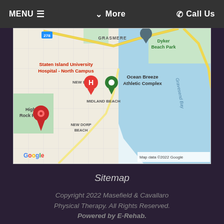MENU ≡   ∨ More   ☎ Call Us
[Figure (map): Google Map showing Staten Island area including Staten Island University Hospital - North Campus (red H marker), Ocean Breeze Athletic Complex (green marker), High Rock Park, New Dorp, Midland Beach, New Dorp Beach, Dyker Beach Park, Gravesend Bay, and a red location pin in the lower left. Map data ©2022 Google.]
Sitemap
Copyright 2022 Masefield & Cavallaro Physical Therapy. All Rights Reserved. Powered by E-Rehab.